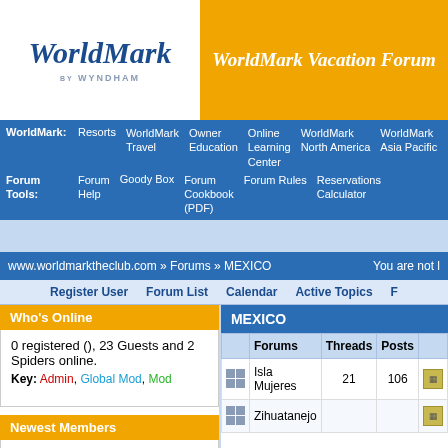[Figure (logo): WorldMark by Wyndham logo with script text]
WorldMark Vacation Forum
WorldMark: Resorts | WorldMark Travel | Owner Education | Online Learning Center | WorldMark North America | WorldMark Asia Pacific
Forum Tools: Forum Help | Goody Box | Forum Cookbook (PDF) | Forum Rules | Reservations Calculator
www.worldmarktheclub.com » Forums » MEXICO   You are not logged in
Register User  Forum List  Calendar  Active Topics
Who's Online
0 registered (), 23 Guests and 2 Spiders online.
Key: Admin, Global Mod, Mod
Newest Members
Gregorio, Tangenhouse, Travelangels, 4041, orelam
MEXICO
|  | Forums | Threads | Posts |  |
| --- | --- | --- | --- | --- |
| [icons] | Isla Mujeres | 21 | 106 | [icon] |
| [icons] | Zihuatanejo |  |  | [icon] |